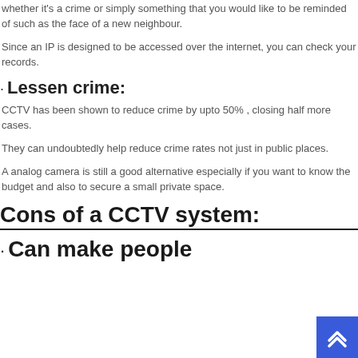whether it's a crime or simply something that you would like to be reminded of such as the face of a new neighbour.
Since an IP is designed to be accessed over the internet, you can check your records.
• Lessen crime:
CCTV has been shown to reduce crime by upto 50% , closing half more cases.
They can undoubtedly help reduce crime rates not just in public places.
A analog camera is still a good alternative especially if you want to know the budget and also to secure a small private space.
Cons of a CCTV system:
• Can make people